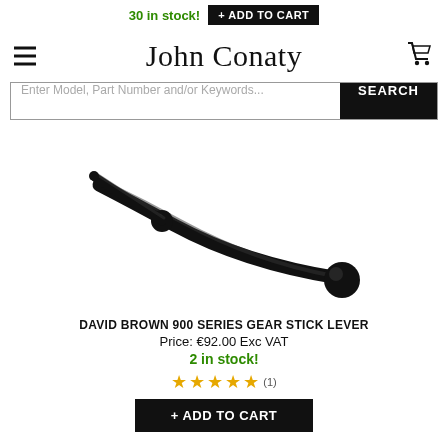30 in stock! + ADD TO CART
John Conaty
Enter Model, Part Number and/or Keywords... SEARCH
[Figure (photo): A black metal gear stick lever with a ball joint at one end and a small round end at the other, curved along its length — for David Brown 900 Series tractor.]
DAVID BROWN 900 SERIES GEAR STICK LEVER
Price: €92.00 Exc VAT
2 in stock!
★★★★★ (1)
+ ADD TO CART